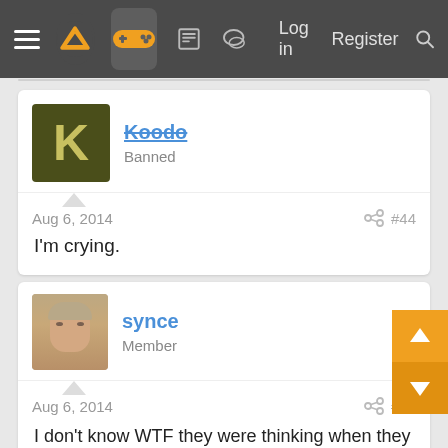Navigation bar with menu, logo, controller icon, forum icons, Log in, Register, Search
Koodo
Banned
Aug 6, 2014  #44
I'm crying.
synce
Member
Aug 6, 2014  #45
I don't know WTF they were thinking when they decided no one needed a map. Next they need to make split screen be horizontal instead of vertical. I feel like whoever designed the game doesn't actually drive because you can't even see